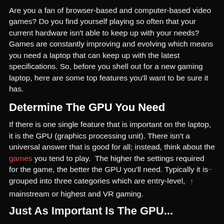Are you a fan of browser-based and computer-based video games? Do you find yourself playing so often that your current hardware isn't able to keep up with your needs? Games are constantly improving and evolving which means you need a laptop that can keep up with the latest specifications. So, before you shell out for a new gaming laptop, here are some top features you'll want to be sure it has.
Determine The GPU You Need
If there is one single feature that is important on the laptop, it is the GPU (graphics processing unit). There isn't a universal answer that is good for all; instead, think about the games you tend to play.  The higher the settings required for the game, the better the GPU you'll need. Typically it is grouped into three categories which are entry-level, mainstream or highest and VR gaming.
Just As Important Is The GPU...